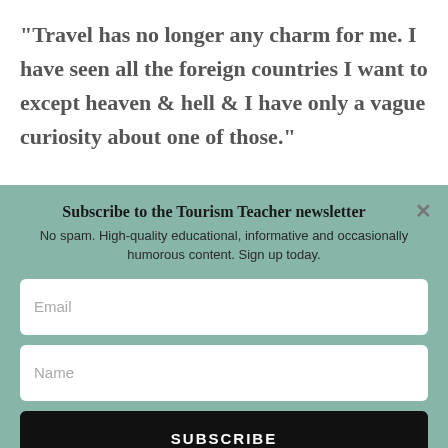“Travel has no longer any charm for me. I have seen all the foreign countries I want to except heaven & hell & I have only a vague curiosity about one of those.”
Subscribe to the Tourism Teacher newsletter
No spam. High-quality educational, informative and occasionally humorous content. Sign up today.